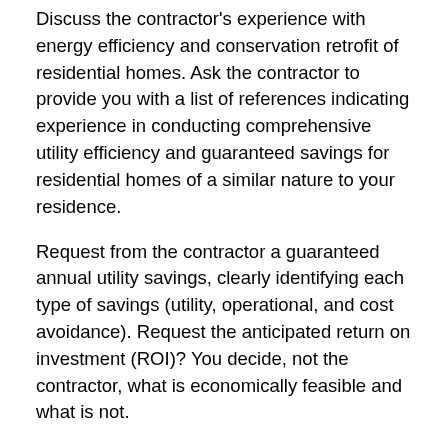Discuss the contractor's experience with energy efficiency and conservation retrofit of residential homes. Ask the contractor to provide you with a list of references indicating experience in conducting comprehensive utility efficiency and guaranteed savings for residential homes of a similar nature to your residence.
Request from the contractor a guaranteed annual utility savings, clearly identifying each type of savings (utility, operational, and cost avoidance). Request the anticipated return on investment (ROI)? You decide, not the contractor, what is economically feasible and what is not.
Once selected, the successful contractor should provide all services necessary to implement energy efficiency conservation and cost savings measures including but not limited to the following: assess and verify existing conditions; issue energy audits for the residence, review